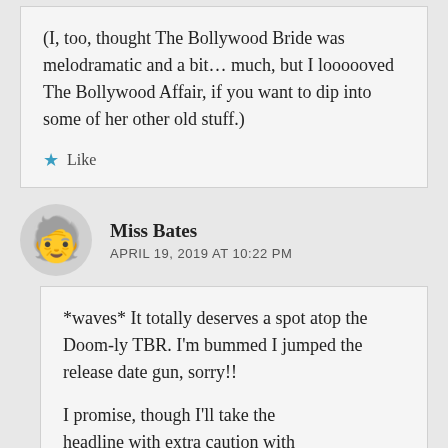(I, too, thought The Bollywood Bride was melodramatic and a bit… much, but I loooooved The Bollywood Affair, if you want to dip into some of her other old stuff.)
Like
Miss Bates
APRIL 19, 2019 AT 10:22 PM
*waves* It totally deserves a spot atop the Doom-ly TBR. I'm bummed I jumped the release date gun, sorry!!
I promise, though I'll take the headline with extra caution with